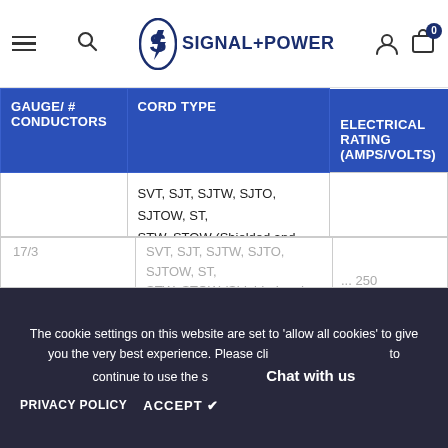Signal+Power — navigation header with menu, search, logo, user and cart icons
| GAUGE/ # CONDUCTORS | CORD TYPE | ELECTRICAL RATING (AMPS/VOLTS) |
| --- | --- | --- |
| 18/3 | SVT, SJT, SJTW, SJTO, SJTOW, ST, STW, STOW (Shielded and Non-shielded for all types), SPT-2, SPT-3 (All TPE material), SVT, SJT, SJTW, SJTO, SJTOW, SJ, SJO, SJOO, SJOW, SJOOW, ST, STW, STOW, SO, SOO, SOW, SOOW (Shielded or Non-Shielded for above types), SPT-2, SPT-3 | 10/125 or 250 |
| 17/3 | SVT, SJT, SJTW, SJTO, SJTOW, ST, STW, STOW (Shielded and Non-shielded for all types), SPT-3 (All TPE material), SVT, SJT, SJTW, SJTO, SJTOW, ... | ... 250 |
The cookie settings on this website are set to 'allow all cookies' to give you the very best experience. Please click ACCEPT to continue to use the site.
PRIVACY POLICY   ACCEPT ✔   Chat with us